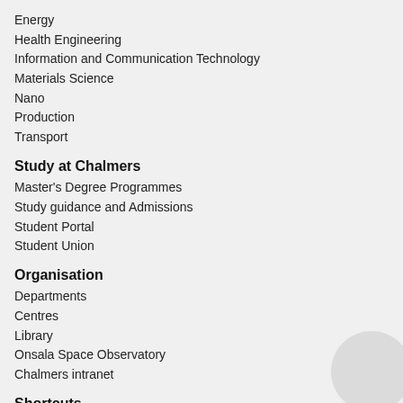Energy
Health Engineering
Information and Communication Technology
Materials Science
Nano
Production
Transport
Study at Chalmers
Master's Degree Programmes
Study guidance and Admissions
Student Portal
Student Union
Organisation
Departments
Centres
Library
Onsala Space Observatory
Chalmers intranet
Shortcuts